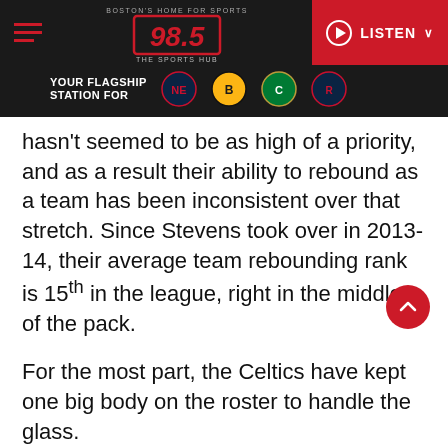98.5 The Sports Hub – Boston's Home For Sports – YOUR FLAGSHIP STATION FOR [Patriots, Bruins, Celtics, Revolution logos] – LISTEN
hasn't seemed to be as high of a priority, and as a result their ability to rebound as a team has been inconsistent over that stretch. Since Stevens took over in 2013-14, their average team rebounding rank is 15th in the league, right in the middle of the pack.
For the most part, the Celtics have kept one big body on the roster to handle the glass.